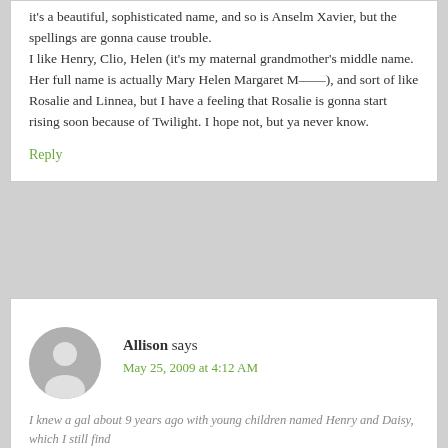it's a beautiful, sophisticated name, and so is Anselm Xavier, but the spellings are gonna cause trouble.
I like Henry, Clio, Helen (it's my maternal grandmother's middle name. Her full name is actually Mary Helen Margaret M——), and sort of like Rosalie and Linnea, but I have a feeling that Rosalie is gonna start rising soon because of Twilight. I hope not, but ya never know.
Reply
Allison says
May 25, 2009 at 4:12 AM
I knew a gal about 9 years ago with young children named Henry and Daisy, which I still find